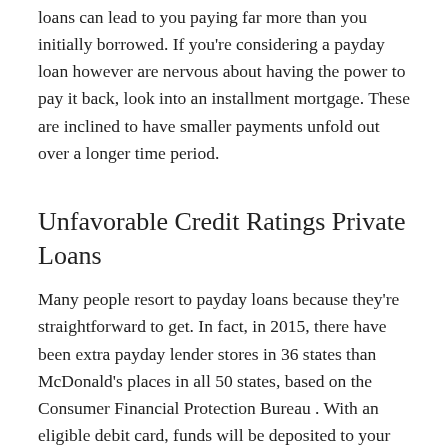loans can lead to you paying far more than you initially borrowed. If you're considering a payday loan however are nervous about having the power to pay it back, look into an installment mortgage. These are inclined to have smaller payments unfold out over a longer time period.
Unfavorable Credit Ratings Private Loans
Many people resort to payday loans because they're straightforward to get. In fact, in 2015, there have been extra payday lender stores in 36 states than McDonald's places in all 50 states, based on the Consumer Financial Protection Bureau . With an eligible debit card, funds will be deposited to your checking in minutes of signing your loan settlement. You get the money you want quickly and without delay, so you can cowl the bills you want and revel in life uninterrupted.